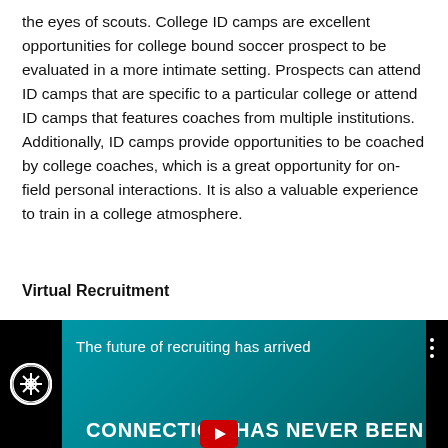the eyes of scouts. College ID camps are excellent opportunities for college bound soccer prospect to be evaluated in a more intimate setting. Prospects can attend ID camps that are specific to a particular college or attend ID camps that features coaches from multiple institutions. Additionally, ID camps provide opportunities to be coached by college coaches, which is a great opportunity for on-field personal interactions. It is also a valuable experience to train in a college atmosphere.
Virtual Recruitment
[Figure (screenshot): YouTube video thumbnail showing 'The future of recruiting has arrived' with a teal background and white bold text 'CONNECTION HAS NEVER BEEN' at the bottom, with a red YouTube play button in the center-bottom area.]